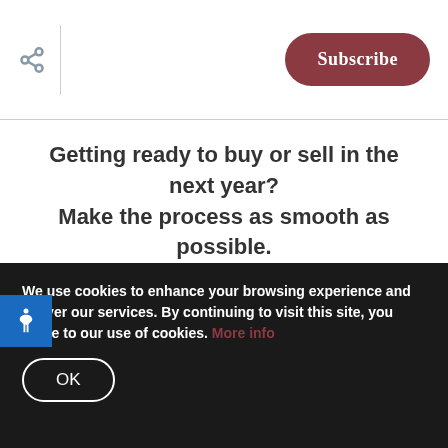Subscribe
Getting ready to buy or sell in the next year? Make the process as smooth as possible.
Our Tips >
drastically shaping home preference desires. This directly affects successful home sellers and the expectations for existing home sales. These days,
We use cookies to enhance your browsing experience and deliver our services. By continuing to visit this site, you agree to our use of cookies. More info
OK